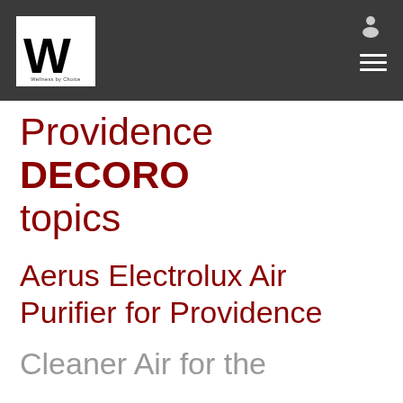[Figure (logo): Wellness by Choice logo: white box with large black W and small tagline text 'Wellness by Choice']
Navigation header bar with logo, user icon, and hamburger menu
Providence DECORO topics
Aerus Electrolux Air Purifier for Providence
Cleaner Air for the